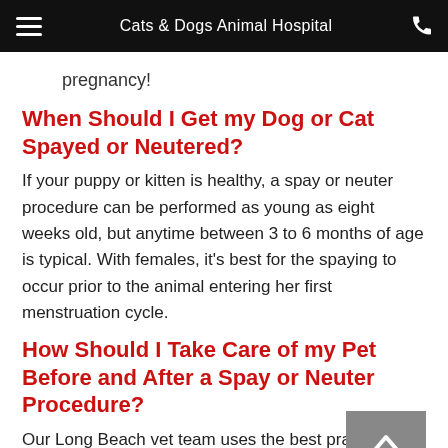Cats & Dogs Animal Hospital
pregnancy!
When Should I Get my Dog or Cat Spayed or Neutered?
If your puppy or kitten is healthy, a spay or neuter procedure can be performed as young as eight weeks old, but anytime between 3 to 6 months of age is typical. With females, it's best for the spaying to occur prior to the animal entering her first menstruation cycle.
How Should I Take Care of my Pet Before and After a Spay or Neuter Procedure?
Our Long Beach vet team uses the best practice techniques and technology to ensure that every